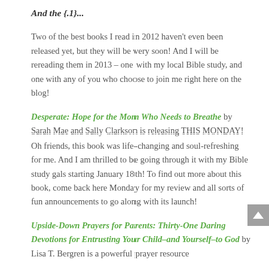And the {.1}...
Two of the best books I read in 2012 haven't even been released yet, but they will be very soon! And I will be rereading them in 2013 – one with my local Bible study, and one with any of you who choose to join me right here on the blog!
Desperate: Hope for the Mom Who Needs to Breathe by Sarah Mae and Sally Clarkson is releasing THIS MONDAY! Oh friends, this book was life-changing and soul-refreshing for me. And I am thrilled to be going through it with my Bible study gals starting January 18th! To find out more about this book, come back here Monday for my review and all sorts of fun announcements to go along with its launch!
Upside-Down Prayers for Parents: Thirty-One Daring Devotions for Entrusting Your Child–and Yourself–to God by Lisa T. Bergren is a powerful prayer resource